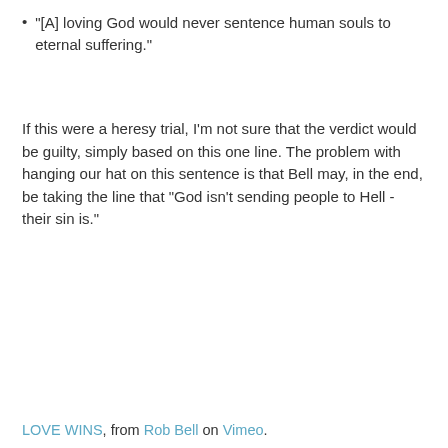"[A] loving God would never sentence human souls to eternal suffering."
If this were a heresy trial, I'm not sure that the verdict would be guilty, simply based on this one line. The problem with hanging our hat on this sentence is that Bell may, in the end, be taking the line that "God isn't sending people to Hell - their sin is."
LOVE WINS, from Rob Bell on Vimeo.